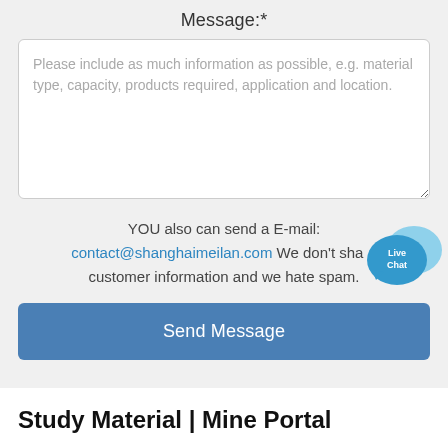Message:*
Please include as much information as possible, e.g. material type, capacity, products required, application and location.
YOU also can send a E-mail: contact@shanghaimeilan.com We don't share customer information and we hate spam.
[Figure (illustration): Live Chat speech bubble icon in blue]
Send Message
Study Material | Mine Portal
Telemonitoring System and their features for use in Underground Coal Mines. Production of Gazette Notifications such as Appointment as the Inspector of Mines/